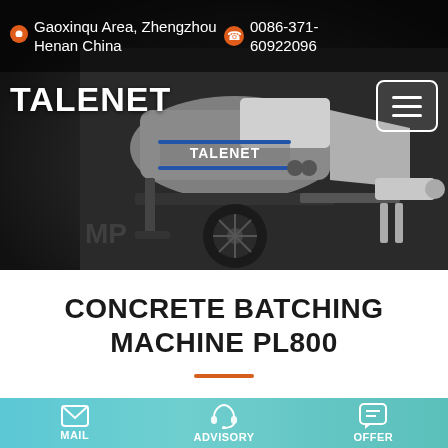Gaoxinqu Area, Zhengzhou Henan China | 0086-371-60922096
[Figure (photo): Talenet concrete batching machine PL800 on dark background — a trailer-mounted concrete pump with grey hopper, black wheel, and steel frame]
TALENET
CONCRETE BATCHING MACHINE PL800
MAIL | ADVISORY | OFFER